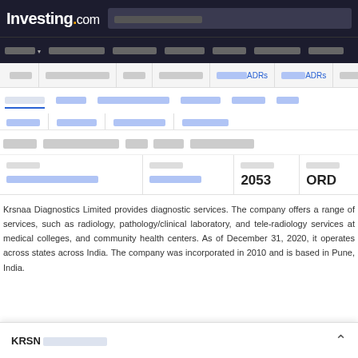Investing.com
Krsnaa Diagnostics Limited provides diagnostic services. The company offers a range of services, such as radiology, pathology/clinical laboratory, and tele-radiology services at medical colleges, and community health centers. As of December 31, 2020, it operates across states across India. The company was incorporated in 2010 and is based in Pune, India.
XXXXXXX XXXXXXXXXXXXXX XXX XXXXXX XXXXXXXXX
| XXXXXXX | XXXXXXXX | XXXXXXXXX | XXXXXXXX |
| --- | --- | --- | --- |
| XXXXXXXXXX XXXX XXXXXXXX XX XXXXXX | XXXXXXXXXX XXXX | 2053 | ORD |